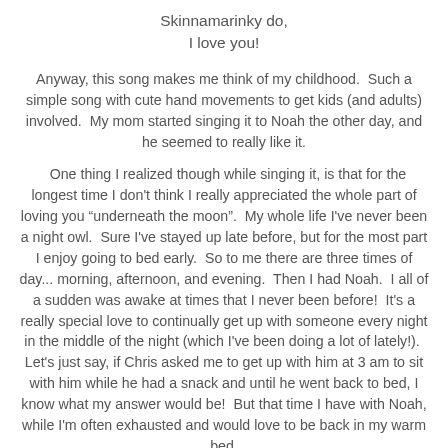Skinnamarinky do,
I love you!
Anyway, this song makes me think of my childhood.  Such a simple song with cute hand movements to get kids (and adults) involved.  My mom started singing it to Noah the other day, and he seemed to really like it.
One thing I realized though while singing it, is that for the longest time I don't think I really appreciated the whole part of loving you "underneath the moon".  My whole life I've never been a night owl.  Sure I've stayed up late before, but for the most part I enjoy going to bed early.  So to me there are three times of day... morning, afternoon, and evening.  Then I had Noah.  I all of a sudden was awake at times that I never been before!  It's a really special love to continually get up with someone every night in the middle of the night (which I've been doing a lot of lately!).  Let's just say, if Chris asked me to get up with him at 3 am to sit with him while he had a snack and until he went back to bed, I know what my answer would be!  But that time I have with Noah, while I'm often exhausted and would love to be back in my warm bed,